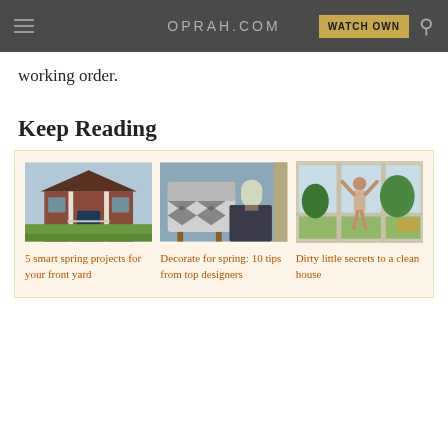OPRAH.COM | WATCH OWN
working order.
Keep Reading
[Figure (photo): Photo of a red brick house with white columns and green front yard — article thumbnail for '5 smart spring projects for your front yard']
5 smart spring projects for your front yard
[Figure (photo): Photo of a patterned armchair with a plant and dark storage cube — article thumbnail for 'Decorate for spring: 10 tips from top designers']
Decorate for spring: 10 tips from top designers
[Figure (photo): Photo of a person stretching by large glass windows overlooking a green garden — article thumbnail for 'Dirty little secrets to a clean house']
Dirty little secrets to a clean house